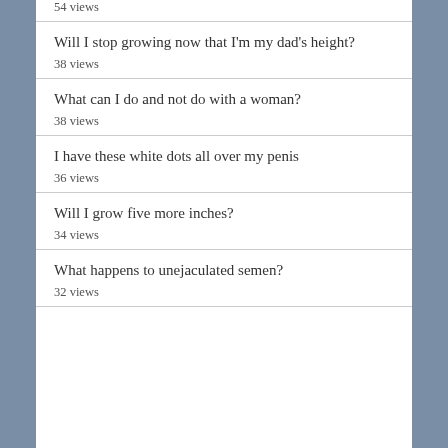54 views
Will I stop growing now that I'm my dad's height?
38 views
What can I do and not do with a woman?
38 views
I have these white dots all over my penis
36 views
Will I grow five more inches?
34 views
What happens to unejaculated semen?
32 views